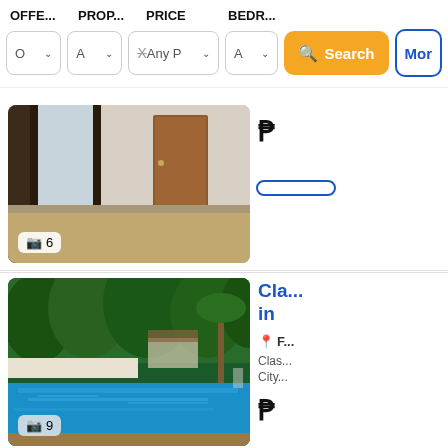OFFE...  PROP...  PRICE  BEDR...
[Figure (screenshot): Search filter bar with dropdowns for Offer type, Property type, Price (Any P with X), Bedrooms, an orange Search button, and a More button]
[Figure (photo): Interior room photo showing empty room with wooden door, large windows, and beige floor. Photo count badge shows 6.]
₱
[Figure (photo): Exterior photo of a house with a swimming pool surrounded by tropical trees and lush greenery. Photo count badge shows 9.]
Cla... in...
F...
Clas... City...
₱